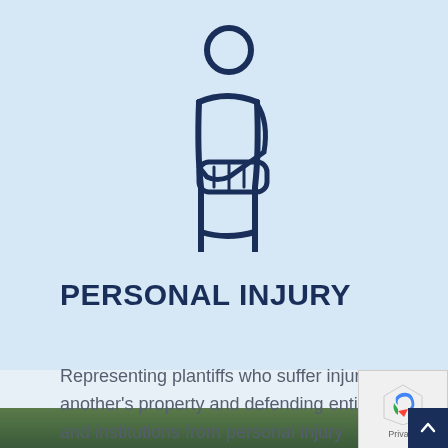[Figure (illustration): Icon of a person with their arm in a sling, drawn in dark navy blue outline style on a light blue background]
PERSONAL INJURY
Representing plantiffs who suffer injury on another's property and defending entities and institutions from personal injury lawsuits.